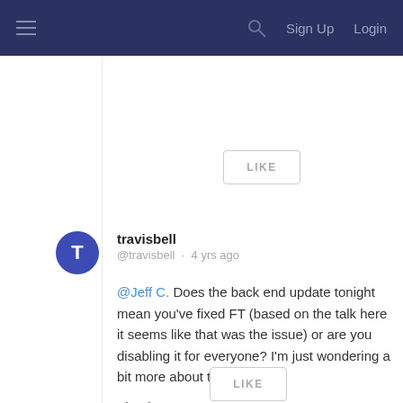Sign Up  Login
[Figure (other): LIKE button (top)]
travisbell @travisbell · 4 yrs ago

@Jeff C. Does the back end update tonight mean you've fixed FT (based on the talk here it seems like that was the issue) or are you disabling it for everyone? I'm just wondering a bit more about this update.

Thanks.
[Figure (other): LIKE button (bottom)]